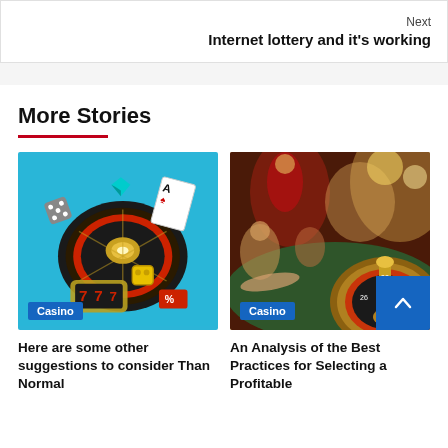Next
Internet lottery and it's working
More Stories
[Figure (photo): 3D illustration of a casino roulette wheel on blue background with dice, playing cards, slot machine reels, and casino chips]
Casino
[Figure (photo): Real-life casino roulette table with golden roulette wheel in foreground and people playing in background]
Casino
Here are some other suggestions to consider Than Normal
An Analysis of the Best Practices for Selecting a Profitable